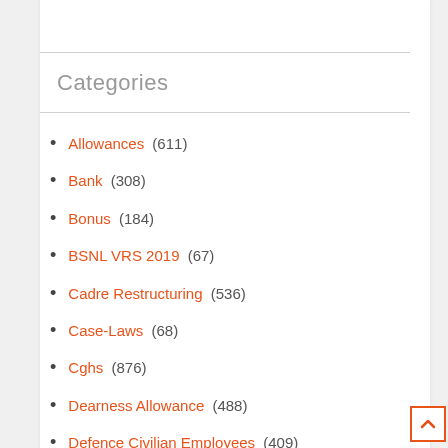Categories
Allowances (611)
Bank (308)
Bonus (184)
BSNL VRS 2019 (67)
Cadre Restructuring (536)
Case-Laws (68)
Cghs (876)
Dearness Allowance (488)
Defence Civilian Employees (409)
Defence personnel (993)